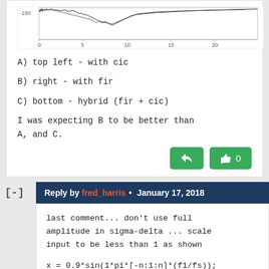[Figure (continuous-plot): Frequency spectrum plot showing amplitude vs Frequency (kHz), x-axis 0-20 kHz, y-axis with -150 label visible at top left. Dense spectral data plotted.]
A) top left - with cic
B) right - with fir
C) bottom - hybrid (fir + cic)
I was expecting B to be better than A, and C.
Reply by fred_harris • January 17, 2018
last comment... don't use full amplitude in sigma-delta ... scale input to be less than 1 as shown